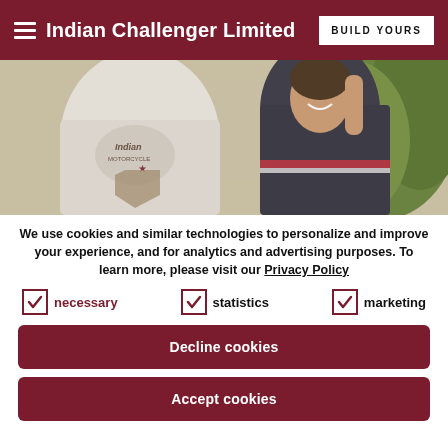Indian Challenger Limited  BUILD YOURS
[Figure (photo): Two people wearing Indian Motorcycle branded apparel outdoors. A man in a white Indian Motorcycle sweatshirt seen from behind, and a smiling woman in a navy blue leather Indian Motorcycle jacket with red and white stripes, raising her hand.]
We use cookies and similar technologies to personalize and improve your experience, and for analytics and advertising purposes. To learn more, please visit our Privacy Policy
necessary  statistics  marketing
Decline cookies
Accept cookies